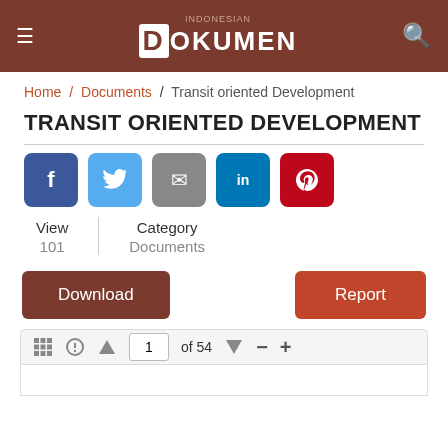DOKUMEN
Home / Documents / Transit oriented Development
TRANSIT ORIENTED DEVELOPMENT
[Figure (infographic): Social share buttons: Facebook, Twitter, Email, LinkedIn, Pinterest]
| View | Category |
| --- | --- |
| 101 | Documents |
Download | Report
[Figure (screenshot): Document viewer toolbar with grid, lightbulb, up arrow, page input showing 1 of 54, down arrow, minus and plus zoom controls]